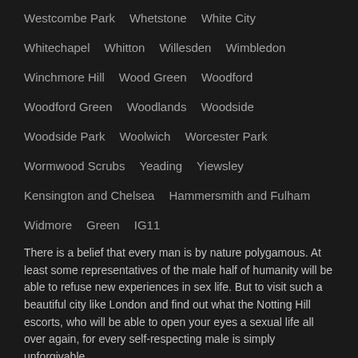Westcombe Park
Whetstone
White City
Whitechapel
Whitton
Willesden
Wimbledon
Winchmore Hill
Wood Green
Woodford
Woodford Green
Woodlands
Woodside
Woodside Park
Woolwich
Worcester Park
Wormwood Scrubs
Yeading
Yiewsley
Kensington and Chelsea
Hammersmith and Fulham
Widmore
Green
IG11
There is a belief that every man is by nature polygamous. At least some representatives of the male half of humanity will be able to refuse new experiences in sex life. But to visit such a beautiful city like London and find out what the Notting Hill escorts, who will be able to open your eyes a sexual life all over again, for every self-respecting male is simply unforgivable.